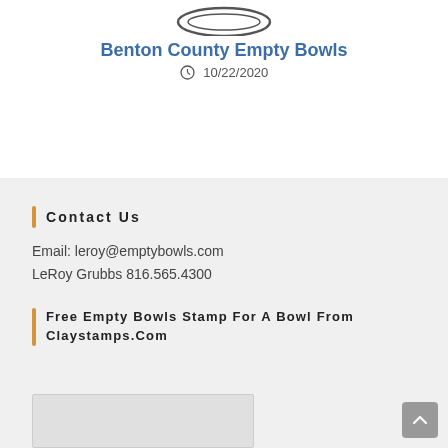[Figure (illustration): Partial view of a bowl logo at the top of the page]
Benton County Empty Bowls
10/22/2020
Contact Us
Email: leroy@emptybowls.com
LeRoy Grubbs 816.565.4300
Free Empty Bowls Stamp For A Bowl From Claystamps.Com
[Figure (photo): Preview image thumbnail at bottom of page]